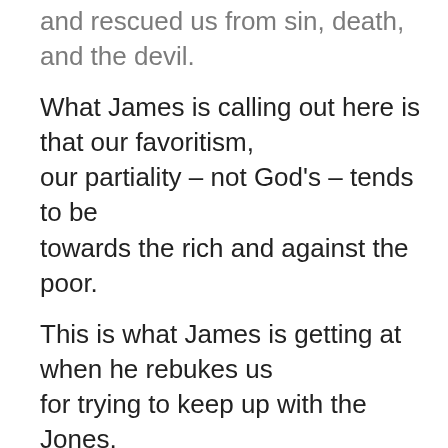and rescued us from sin, death, and the devil.
What James is calling out here is that our favoritism,
our partiality – not God's – tends to be towards the rich and against the poor.
This is what James is getting at when he rebukes us
for trying to keep up with the Jones,
for chasing after the rich or trying to make ourselves rich
rather than embracing the poverty we are share
due to our mutual brokenness and sin.
James is trying to help us understand